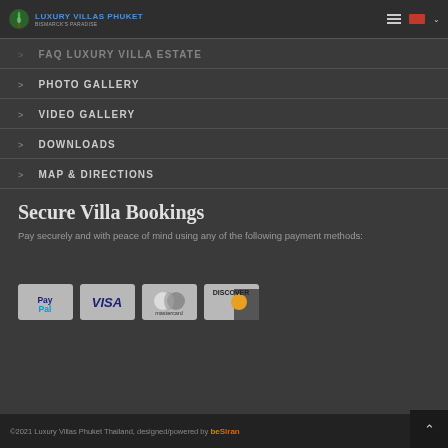Luxury Villas Phuket – Bismarck's Paradise
FAQ LUXURY VILLA ESTATE
PHOTO GALLERY
VIDEO GALLERY
DOWNLOADS
MAP & DIRECTIONS
Secure Villa Bookings
Pay securely and with peace of mind using any of the following payment methods:
[Figure (logo): Payment method logos: PayPal, VISA, Mastercard, Discover]
©2021 Luxury Villas Phuket Thailand, designed/powered by beSiran